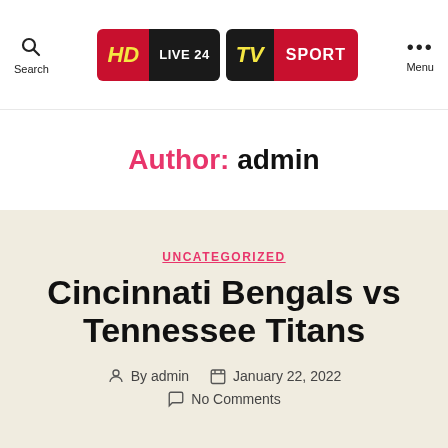HD LIVE 24 | TV SPORT — Search / Menu
Author: admin
UNCATEGORIZED
Cincinnati Bengals vs Tennessee Titans
By admin  January 22, 2022  No Comments